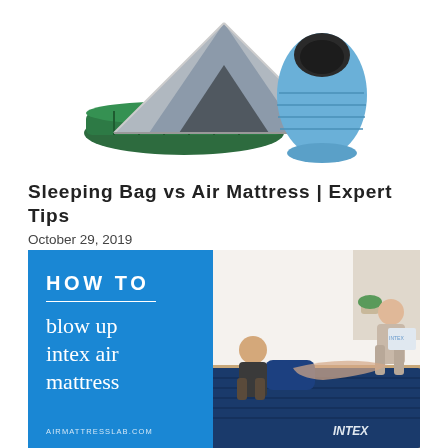[Figure (photo): Camping gear product photo: a dome tent, green inflatable air mattress, and blue sleeping bag arranged together on a white background]
Sleeping Bag vs Air Mattress | Expert Tips
October 29, 2019
[Figure (photo): Composite image: left blue panel with text 'HOW TO blow up intex air mattress' and website airmattresslab.com; right side shows a man and woman setting up a large navy blue Intex air mattress with a pillow in a bright room]